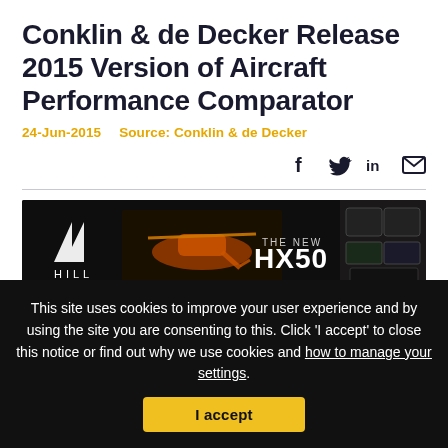Conklin & de Decker Release 2015 Version of Aircraft Performance Comparator
24-Jun-2015    Source: Conklin & de Decker
[Figure (screenshot): Social sharing icons: Facebook, Twitter, LinkedIn, Email]
[Figure (photo): Hill HX50 helicopter advertisement banner with logo, helicopter image, and text THE NEW HX50]
This site uses cookies to improve your user experience and by using the site you are consenting to this. Click 'I accept' to close this notice or find out why we use cookies and how to manage your settings.
I accept